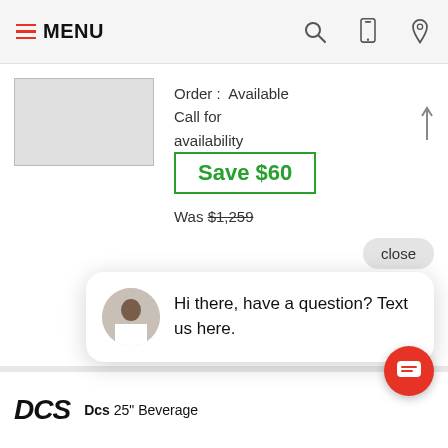MENU
[Figure (screenshot): Product image placeholder (gray rectangle)]
Order: Available
Call for availability
Save $60
Was $1,259
close
Hi there, have a question? Text us here.
See
Dcs 25" Beverage